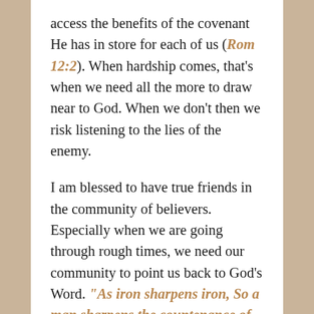access the benefits of the covenant He has in store for each of us (Rom 12:2). When hardship comes, that's when we need all the more to draw near to God. When we don't then we risk listening to the lies of the enemy.
I am blessed to have true friends in the community of believers. Especially when we are going through rough times, we need our community to point us back to God's Word. "As iron sharpens iron, So a man sharpens the countenance of his friend." (Prov. 27:17) The Word of God is a "double-edged sword" (Heb 4:12), and it is with this that we are to sharpen one another—in times of meeting, fellowship, or any other interaction. It is truly the best way that we can encourage one